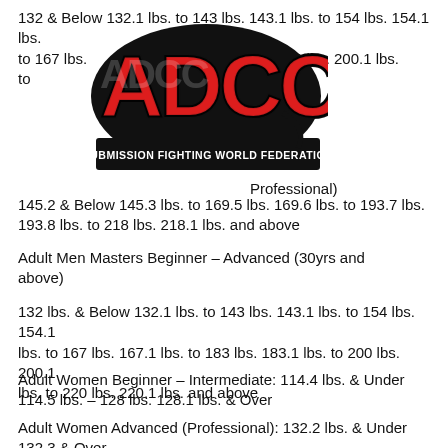132 & Below 132.1 lbs. to 143 lbs. 143.1 lbs. to 154 lbs. 154.1 lbs. to 167 lbs. to lbs. to 200 lbs. 200.1 lbs. to
[Figure (logo): ADCC Submission Fighting World Federation logo — red graffiti-style letters ADCC with black outline, white banner at bottom reading SUBMISSION FIGHTING WORLD FEDERATION]
Professional)
145.2 & Below 145.3 lbs. to 169.5 lbs. 169.6 lbs. to 193.7 lbs. 193.8 lbs. to 218 lbs. 218.1 lbs. and above
Adult Men Masters Beginner – Advanced (30yrs and above)
132 lbs. & Below 132.1 lbs. to 143 lbs. 143.1 lbs. to 154 lbs. 154.1 lbs. to 167 lbs. 167.1 lbs. to 183 lbs. 183.1 lbs. to 200 lbs. 200.1 lbs. to 220 lbs. 220.1 lbs. and above
Adult Women Beginner – Intermediate: 114.4 lbs. & Under 114.5 lbs. – 128 lbs. 128.1 lbs. & Over
Adult Women Advanced (Professional): 132.2 lbs. & Under 132.3 & Over